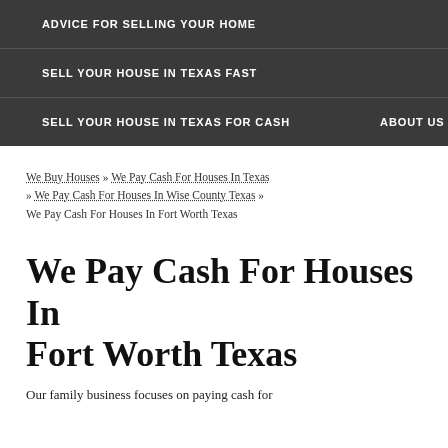ADVICE FOR SELLING YOUR HOME
SELL YOUR HOUSE IN TEXAS FAST
SELL YOUR HOUSE IN TEXAS FOR CASH    ABOUT US
We Buy Houses » We Pay Cash For Houses In Texas » We Pay Cash For Houses In Wise County Texas » We Pay Cash For Houses In Fort Worth Texas
We Pay Cash For Houses In Fort Worth Texas
Our family business focuses on paying cash for